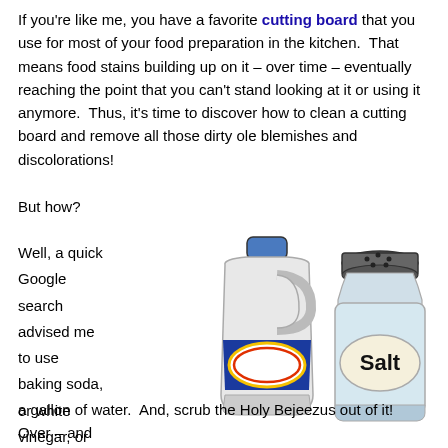If you're like me, you have a favorite cutting board that you use for most of your food preparation in the kitchen. That means food stains building up on it – over time – eventually reaching the point that you can't stand looking at it or using it anymore. Thus, it's time to discover how to clean a cutting board and remove all those dirty ole blemishes and discolorations!
But how?
Well, a quick Google search advised me to use baking soda, or white vinegar, or salt, or a couple drops of bleach in a gallon of water.
[Figure (illustration): Illustration of a bleach jug with blue label reading BLEACH and a salt shaker with oval label reading Salt]
a gallon of water. And, scrub the Holy Bejeezus out of it! Over – and